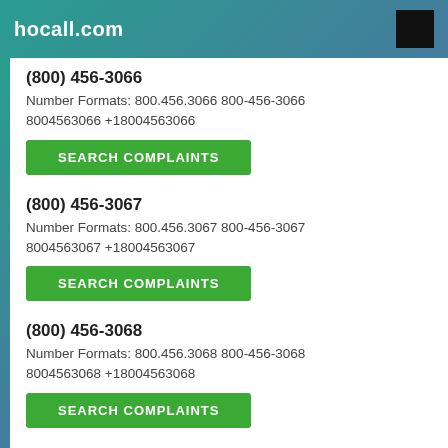hocall.com
(800) 456-3066
Number Formats: 800.456.3066 800-456-3066 8004563066 +18004563066
SEARCH COMPLAINTS
(800) 456-3067
Number Formats: 800.456.3067 800-456-3067 8004563067 +18004563067
SEARCH COMPLAINTS
(800) 456-3068
Number Formats: 800.456.3068 800-456-3068 8004563068 +18004563068
SEARCH COMPLAINTS